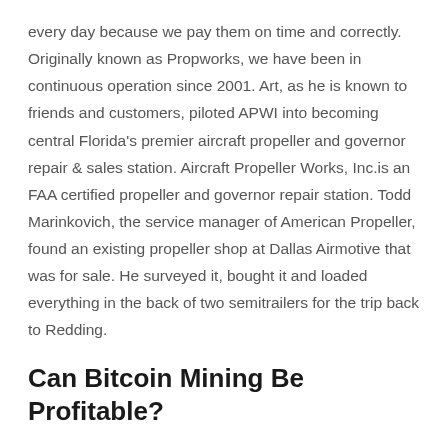every day because we pay them on time and correctly. Originally known as Propworks, we have been in continuous operation since 2001. Art, as he is known to friends and customers, piloted APWI into becoming central Florida's premier aircraft propeller and governor repair & sales station. Aircraft Propeller Works, Inc.is an FAA certified propeller and governor repair station. Todd Marinkovich, the service manager of American Propeller, found an existing propeller shop at Dallas Airmotive that was for sale. He surveyed it, bought it and loaded everything in the back of two semitrailers for the trip back to Redding.
Can Bitcoin Mining Be Profitable?
...